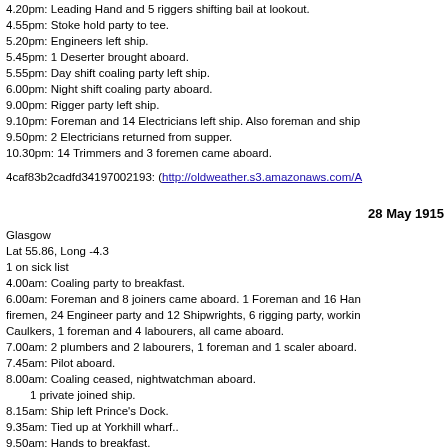4.20pm: Leading Hand and 5 riggers shifting bail at lookout.
4.55pm: Stoke hold party to tee.
5.20pm: Engineers left ship.
5.45pm: 1 Deserter brought aboard.
5.55pm: Day shift coaling party left ship.
6.00pm: Night shift coaling party aboard.
9.00pm: Rigger party left ship.
9.10pm: Foreman and 14 Electricians left ship. Also foreman and ship
9.50pm: 2 Electricians returned from supper.
10.30pm: 14 Trimmers and 3 foremen came aboard.
4caf83b2cadfd34197002193: (http://oldweather.s3.amazonaws.com/A
28 May 1915
Glasgow
Lat 55.86, Long -4.3
1 on sick list
4.00am: Coaling party to breakfast.
6.00am: Foreman and 8 joiners came aboard. 1 Foreman and 16 Han firemen, 24 Engineer party and 12 Shipwrights, 6 rigging party, workin Caulkers, 1 foreman and 4 labourers, all came aboard.
7.00am: 2 plumbers and 2 labourers, 1 foreman and 1 scaler aboard.
7.45am: Pilot aboard.
8.00am: Coaling ceased, nightwatchman aboard.
1 private joined ship.
8.15am: Ship left Prince's Dock.
9.35am: Tied up at Yorkhill wharf..
9.50am: Hands to breakfast.
10.35am: Hands fall in, wash down ship.
12.30pm: Compasses sent ashore for repairs.